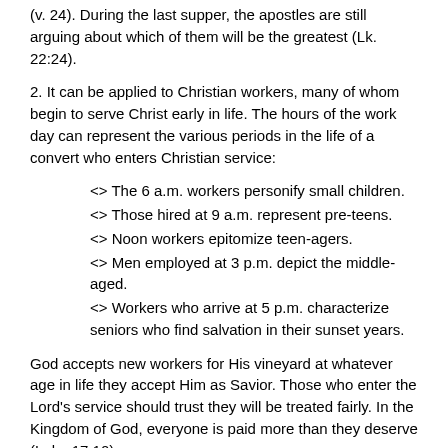(v. 24). During the last supper, the apostles are still arguing about which of them will be the greatest (Lk. 22:24).
2. It can be applied to Christian workers, many of whom begin to serve Christ early in life. The hours of the work day can represent the various periods in the life of a convert who enters Christian service:
<> The 6 a.m. workers personify small children.
<> Those hired at 9 a.m. represent pre-teens.
<> Noon workers epitomize teen-agers.
<> Men employed at 3 p.m. depict the middle-aged.
<> Workers who arrive at 5 p.m. characterize seniors who find salvation in their sunset years.
God accepts new workers for His vineyard at whatever age in life they accept Him as Savior. Those who enter the Lord's service should trust they will be treated fairly. In the Kingdom of God, everyone is paid more than they deserve (Luke 17:10).